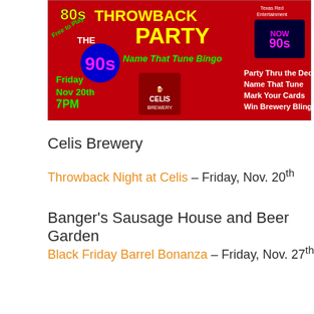[Figure (illustration): Promotional banner for Throwback Night party at Celis Brewery on Friday Nov 20th at 7PM. Red background with colorful retro 80s/90s theme text. Shows 'Free to Play The 90s', 'THROWBACK PARTY', 'Name That Tune Bingo', Friday Nov 20th 7PM, Celis Brewery logo, NOW 90s logo, and text: Party Thru the Decades, Name That Tune, Mark Your Cards, Win Brewery Bling.]
Celis Brewery
Throwback Night at Celis – Friday, Nov. 20th
Banger's Sausage House and Beer Garden
Black Friday Barrel Bonanza – Friday, Nov. 27th